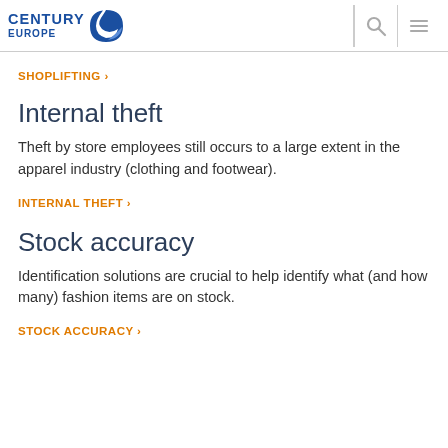CENTURY EUROPE
SHOPLIFTING ›
Internal theft
Theft by store employees still occurs to a large extent in the apparel industry (clothing and footwear).
INTERNAL THEFT ›
Stock accuracy
Identification solutions are crucial to help identify what (and how many) fashion items are on stock.
STOCK ACCURACY ›